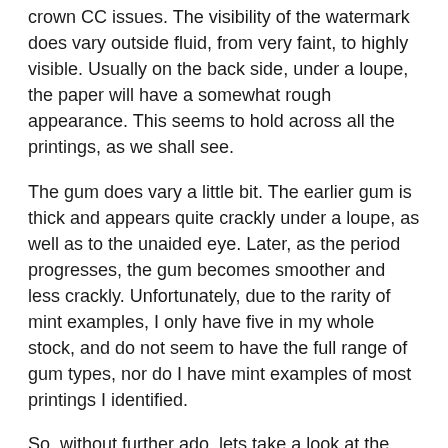crown CC issues. The visibility of the watermark does vary outside fluid, from very faint, to highly visible. Usually on the back side, under a loupe, the paper will have a somewhat rough appearance. This seems to hold across all the printings, as we shall see.
The gum does vary a little bit. The earlier gum is thick and appears quite crackly under a loupe, as well as to the unaided eye. Later, as the period progresses, the gum becomes smoother and less crackly. Unfortunately, due to the rarity of mint examples, I only have five in my whole stock, and do not seem to have the full range of gum types, nor do I have mint examples of most printings I identified.
So, without further ado, lets take a look at the various printings that I identified.
Group One